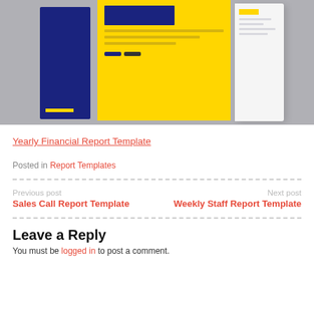[Figure (photo): Photo of financial report template booklets on a grey surface — one dark blue cover on the left, one yellow/navy center booklet, and one white booklet on the right.]
Yearly Financial Report Template
Posted in Report Templates
Previous post
Sales Call Report Template
Next post
Weekly Staff Report Template
Leave a Reply
You must be logged in to post a comment.